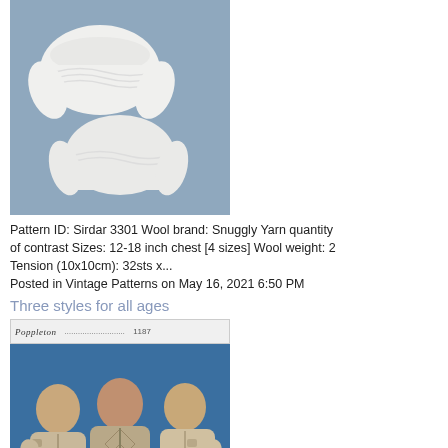[Figure (photo): White baby knitted garments on blue-grey background]
Pattern ID: Sirdar 3301 Wool brand: Snuggly Yarn quantity of contrast Sizes: 12-18 inch chest [4 sizes] Wool weight: 2 Tension (10x10cm): 32sts x...
Posted in Vintage Patterns on May 16, 2021 6:50 PM
Three styles for all ages
[Figure (photo): Poppleton header label and three men wearing knitted cardigans on blue background]
Pattern ID: Poppleton 1187 Wool brand: Poppleton DK, De Poppylon, Courtelle, Tricel Nylon. Yarn quantity: 23- 29 (1 (4 sizes) Wool weight: Double knitting Needle size:...
Posted in Vintage Patterns on May 15, 2021 6:21 PM
Seventies Ponchos IV
[Figure (photo): Partially visible poncho pattern image]